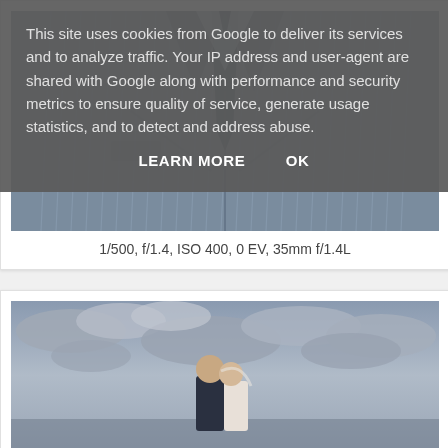This site uses cookies from Google to deliver its services and to analyze traffic. Your IP address and user-agent are shared with Google along with performance and security metrics to ensure quality of service, generate usage statistics, and to detect and address abuse.
LEARN MORE    OK
[Figure (photo): Close-up photo of a man's torso wearing a pinstripe suit with a dark blue tie]
1/500, f/1.4, ISO 400, 0 EV, 35mm f/1.4L
[Figure (photo): Photo of a bride and groom standing outdoors under a dramatic cloudy sky]